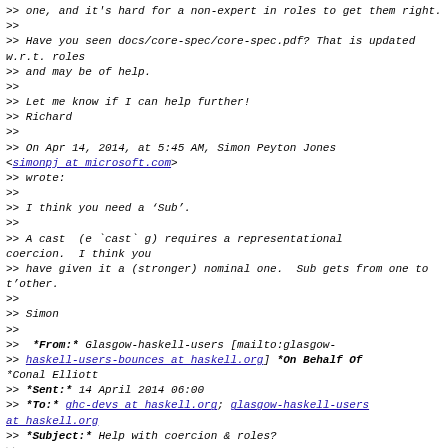>> one, and it's hard for a non-expert in roles to get them right.
>>
>> Have you seen docs/core-spec/core-spec.pdf? That is updated w.r.t. roles
>> and may be of help.
>>
>> Let me know if I can help further!
>> Richard
>>
>> On Apr 14, 2014, at 5:45 AM, Simon Peyton Jones <simonpj at microsoft.com>
>> wrote:
>>
>> I think you need a 'Sub'.
>>
>> A cast  (e `cast` g) requires a representational coercion.  I think you
>> have given it a (stronger) nominal one.  Sub gets from one to t'other.
>>
>> Simon
>>
>>  *From:* Glasgow-haskell-users [mailto:glasgow-
>> haskell-users-bounces at haskell.org] *On Behalf Of *Conal Elliott
>> *Sent:* 14 April 2014 06:00
>> *To:* ghc-devs at haskell.org; glasgow-haskell-users at haskell.org
>> *Subject:* Help with coercion & roles?
>>